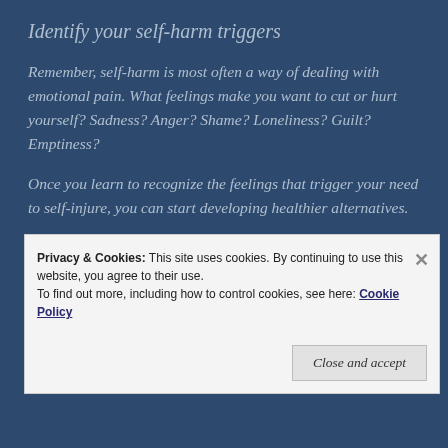Identify your self-harm triggers
Remember, self-harm is most often a way of dealing with emotional pain. What feelings make you want to cut or hurt yourself? Sadness? Anger? Shame? Loneliness? Guilt? Emptiness?
Once you learn to recognize the feelings that trigger your need to self-injure, you can start developing healthier alternatives.
Get in touch with your feelings...
Privacy & Cookies: This site uses cookies. By continuing to use this website, you agree to their use.
To find out more, including how to control cookies, see here: Cookie Policy
Close and accept